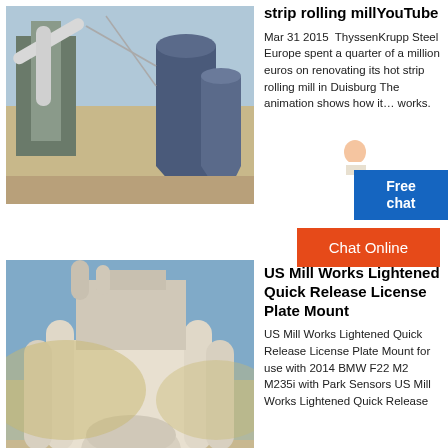[Figure (photo): Industrial plant exterior with large pipes, conveyor structures, and dust collection silos against a sky background]
strip rolling millYouTube
Mar 31 2015  ThyssenKrupp Steel Europe spent a quarter of a million euros on renovating its hot strip rolling mill in Duisburg The animation shows how it works.
[Figure (photo): Large white industrial milling machine with cylindrical structures and ventilation tubes against a blue sky]
US Mill Works Lightened Quick Release License Plate Mount
US Mill Works Lightened Quick Release License Plate Mount for use with 2014 BMW F22 M2 M235i with Park Sensors US Mill Works Lightened Quick Release